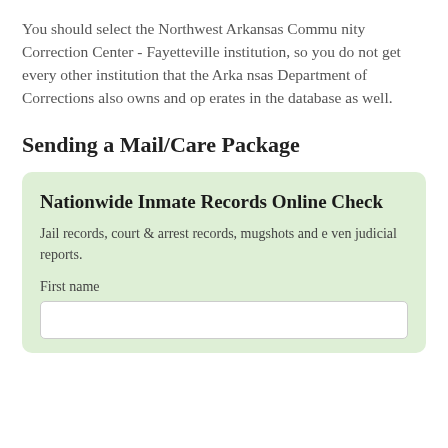You should select the Northwest Arkansas Community Correction Center - Fayetteville institution, so you do not get every other institution that the Arkansas Department of Corrections also owns and operates in the database as well.
Sending a Mail/Care Package
Nationwide Inmate Records Online Check
Jail records, court & arrest records, mugshots and even judicial reports.
First name